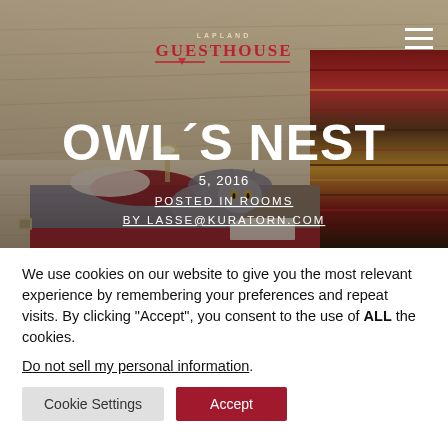[Figure (photo): Hero image of an attic bedroom (Owl's Nest room) with slanted white wooden ceiling, a bed with red and grey bedding, a cat lying on the bed, and red striped textile on the right wall. A Lapland Guesthouse logo is in the upper center and a hamburger menu icon in the upper right.]
OWL´S NEST
5, 2016
POSTED IN ROOMS
BY LASSE@KURATORN.COM
We use cookies on our website to give you the most relevant experience by remembering your preferences and repeat visits. By clicking "Accept", you consent to the use of ALL the cookies.
Do not sell my personal information.
Cookie Settings
Accept